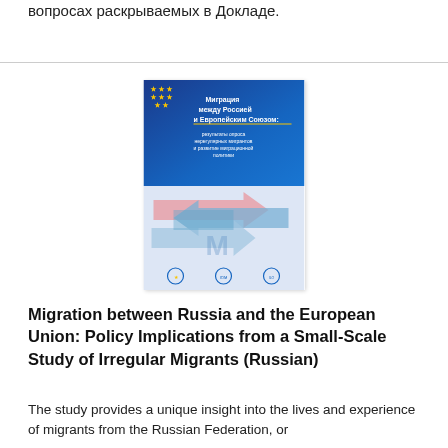вопросах раскрываемых в Докладе.
[Figure (illustration): Book cover of 'Миграция между Россией и Европейским Союзом: результаты опроса нерегулярных мигрантов и развитие миграционной политики' — a report on migration between Russia and the European Union, showing EU flag stars on blue background and migration arrows on lower half, with EU, IOM and other logos at bottom.]
Migration between Russia and the European Union: Policy Implications from a Small-Scale Study of Irregular Migrants (Russian)
The study provides a unique insight into the lives and experience of migrants from the Russian Federation, or